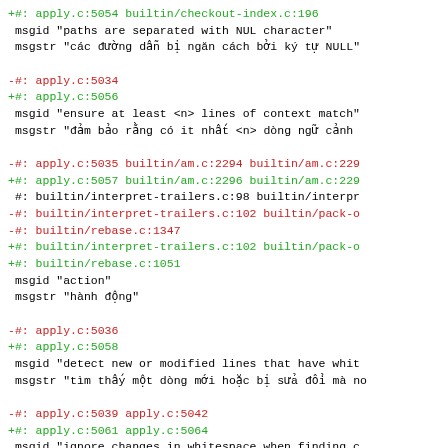+#: apply.c:5054 builtin/checkout-index.c:196
 msgid "paths are separated with NUL character"
 msgstr "các đường dẫn bị ngăn cách bởi ký tự NULL"
-#: apply.c:5034
+#: apply.c:5056
 msgid "ensure at least <n> lines of context match"
 msgstr "đảm bảo rằng có it nhất <n> dòng ngữ cảnh
-#: apply.c:5035 builtin/am.c:2294 builtin/am.c:229
+#: apply.c:5057 builtin/am.c:2296 builtin/am.c:229
 #: builtin/interpret-trailers.c:98 builtin/interpr
-#: builtin/interpret-trailers.c:102 builtin/pack-o
-#: builtin/rebase.c:1347
+#: builtin/interpret-trailers.c:102 builtin/pack-o
+#: builtin/rebase.c:1051
 msgid "action"
 msgstr "hành động"
-#: apply.c:5036
+#: apply.c:5058
 msgid "detect new or modified lines that have whit
 msgstr "tìm thấy một dòng mới hoặc bị sửa đổi mà no
-#: apply.c:5039 apply.c:5042
+#: apply.c:5061 apply.c:5064
 msgid "ignore changes in whitespace when finding c
 msgstr "lờ đi sự thay đổi do khoảng trắng gây ra k
#: apply.c:5045